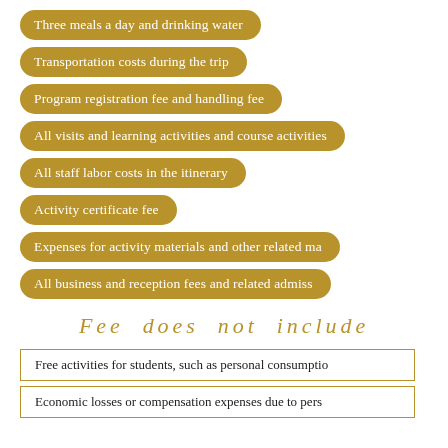Three meals a day and drinking water
Transportation costs during the trip
Program registration fee and handling fee
All visits and learning activities and course activities
All staff labor costs in the itinerary
Activity certificate fee
Expenses for activity materials and other related ma
All business and reception fees and related admiss
Fee does not include
Free activities for students, such as personal consumptio
Economic losses or compensation expenses due to pers